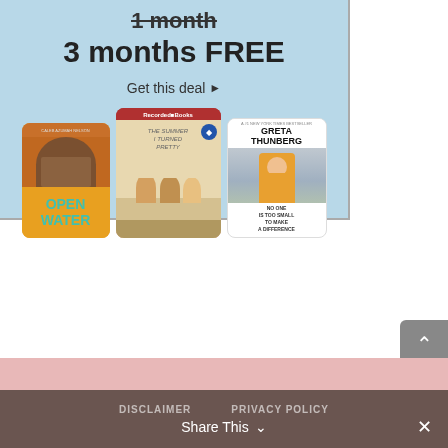[Figure (illustration): Advertisement banner with light blue background showing promotional text '1 month' (strikethrough) '3 months FREE' with 'Get this deal' link and three audiobook covers: Open Water, The Summer I Turned Pretty, and Greta Thunberg]
[Figure (illustration): Gray scroll-to-top button with upward arrow chevron icon on the right side of the page]
DISCLAIMER   PRIVACY POLICY
Share This ∨  ×